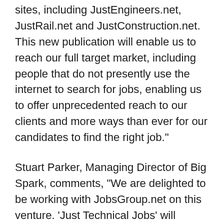sites, including JustEngineers.net, JustRail.net and JustConstruction.net. This new publication will enable us to reach our full target market, including people that do not presently use the internet to search for jobs, enabling us to offer unprecedented reach to our clients and more ways than ever for our candidates to find the right job."
Stuart Parker, Managing Director of Big Spark, comments, "We are delighted to be working with JobsGroup.net on this venture. 'Just Technical Jobs' will provide technical jobseekers throughout the UK with all the latest job information in a convenient monthly newspaper delivered free to their home or workplace. We have appointed editor Clive Entwistle, who has many years of experience in